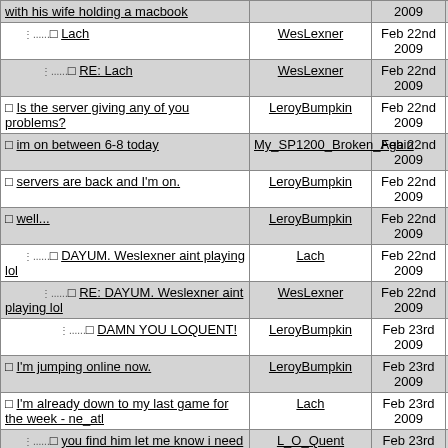| Topic | Author | Date | # |
| --- | --- | --- | --- |
| with his wife holding a macbook |  | 2009 |  |
| Lach | WesLexner | Feb 22nd 2009 | 69 |
| RE: Lach | WesLexner | Feb 22nd 2009 | 70 |
| Is the server giving any of you problems? | LeroyBumpkin | Feb 22nd 2009 | 72 |
| im on between 6-8 today | My_SP1200_Broken_Again | Feb 22nd 2009 | 73 |
| servers are back and I'm on. | LeroyBumpkin | Feb 22nd 2009 | 74 |
| well... | LeroyBumpkin | Feb 22nd 2009 | 75 |
| DAYUM. Weslexner aint playing lol | Lach | Feb 22nd 2009 | 77 |
| RE: DAYUM. Weslexner aint playing lol | WesLexner | Feb 22nd 2009 | 79 |
| DAMN YOU LOQUENT! | LeroyBumpkin | Feb 23rd 2009 | 81 |
| I'm jumping online now. | LeroyBumpkin | Feb 23rd 2009 | 80 |
| I'm already down to my last game for the week - ne_atl | Lach | Feb 23rd 2009 | 82 |
| you find him let me know i need to finish mine off | L_O_Quent | Feb 23rd 2009 | 87 |
| RE: NBA 2K9 20 Game Season (ROUNDS 3 &amp; 4) | thelonestranger | Feb 23rd 2009 | 83 |
| Ok: LAL vs. DAL | thelonestranger | Feb 23rd 2009 | 90 |